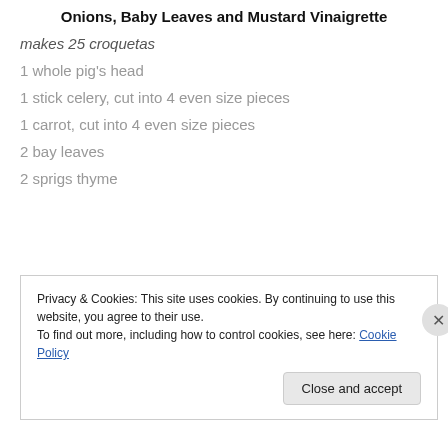Onions, Baby Leaves and Mustard Vinaigrette
makes 25 croquetas
1 whole pig's head
1 stick celery, cut into 4 even size pieces
1 carrot, cut into 4 even size pieces
2 bay leaves
2 sprigs thyme
Privacy & Cookies: This site uses cookies. By continuing to use this website, you agree to their use. To find out more, including how to control cookies, see here: Cookie Policy